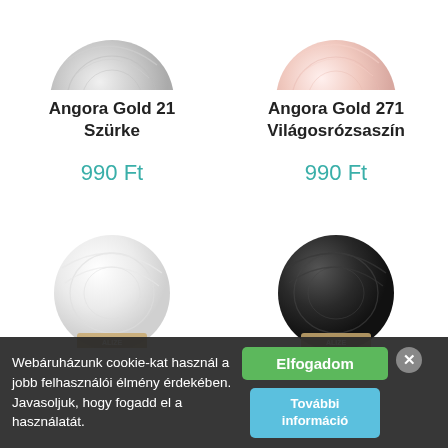[Figure (photo): Gray yarn ball (Angora Gold 21 Szürke) — top partially visible]
[Figure (photo): Light pink yarn ball (Angora Gold 271 Világosrózsaszín) — top partially visible]
Angora Gold 21 Szürke
Angora Gold 271 Világosrózsaszín
990 Ft
990 Ft
[Figure (photo): White/cream yarn ball (Alize brand) — bottom partially cut off]
[Figure (photo): Dark/black yarn ball (Alize brand) — bottom partially cut off]
Webáruházunk cookie-kat használ a jobb felhasználói élmény érdekében. Javasoljuk, hogy fogadd el a használatát.
Elfogadom
További információ